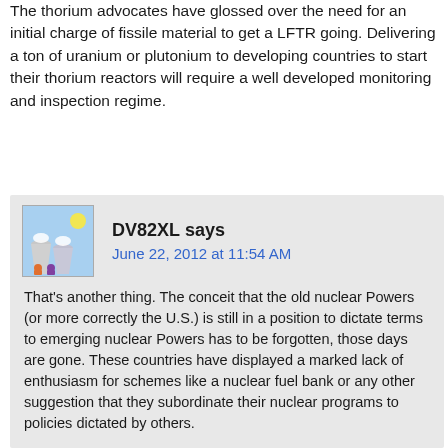The thorium advocates have glossed over the need for an initial charge of fissile material to get a LFTR going. Delivering a ton of uranium or plutonium to developing countries to start their thorium reactors will require a well developed monitoring and inspection regime.
DV82XL says
June 22, 2012 at 11:54 AM

That's another thing. The conceit that the old nuclear Powers (or more correctly the U.S.) is still in a position to dictate terms to emerging nuclear Powers has to be forgotten, those days are gone. These countries have displayed a marked lack of enthusiasm for schemes like a nuclear fuel bank or any other suggestion that they subordinate their nuclear programs to policies dictated by others.

This attitude does not bode well for those that see and try to sell thorium as an anodyne to the perceived threat of indigenous nuclear infrastructure like enrichment plants and such.